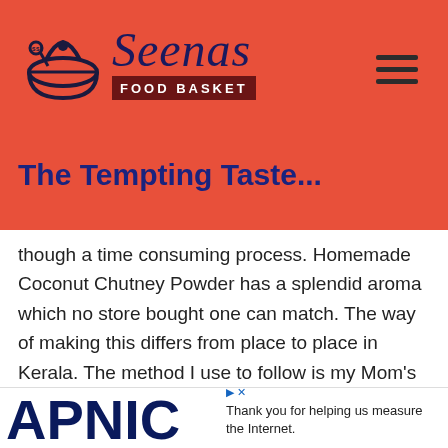[Figure (logo): Seenas Food Basket logo with circular bowl icon and stylized script text, on red/orange background]
The Tempting Taste...
though a time consuming process. Homemade Coconut Chutney Powder has a splendid aroma which no store bought one can match. The way of making this differs from place to place in Kerala. The method I use to follow is my Mom's and Grand Mom's recipe.
...my third recipe in the powders categor...
[Figure (screenshot): APNIC advertisement banner: 'Thank you for helping us measure the Internet.']